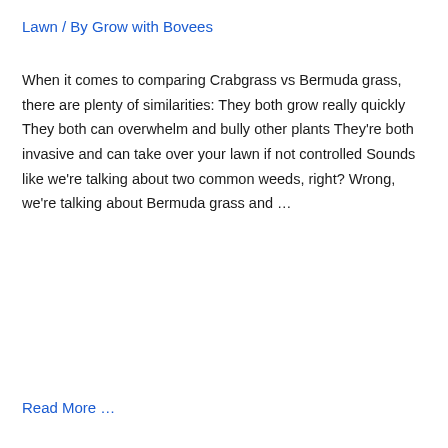Lawn / By Grow with Bovees
When it comes to comparing Crabgrass vs Bermuda grass, there are plenty of similarities: They both grow really quickly They both can overwhelm and bully other plants They're both invasive and can take over your lawn if not controlled Sounds like we're talking about two common weeds, right? Wrong, we're talking about Bermuda grass and …
Read More …